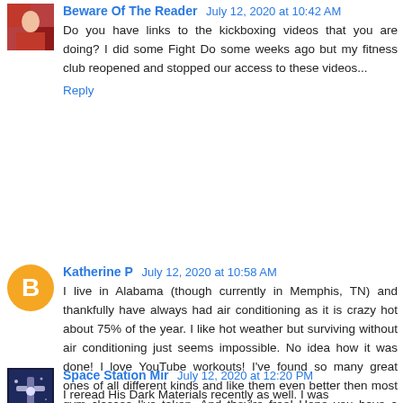Beware Of The Reader  July 12, 2020 at 10:42 AM
Do you have links to the kickboxing videos that you are doing? I did some Fight Do some weeks ago but my fitness club reopened and stopped our access to these videos...
Reply
Katherine P  July 12, 2020 at 10:58 AM
I live in Alabama (though currently in Memphis, TN) and thankfully have always had air conditioning as it is crazy hot about 75% of the year. I like hot weather but surviving without air conditioning just seems impossible. No idea how it was done! I love YouTube workouts! I've found so many great ones of all different kinds and like them even better then most gym classes I've taken. And they're free! Hope you have a great week.
Reply
Space Station Mir  July 12, 2020 at 12:20 PM
I reread His Dark Materials recently as well. I was